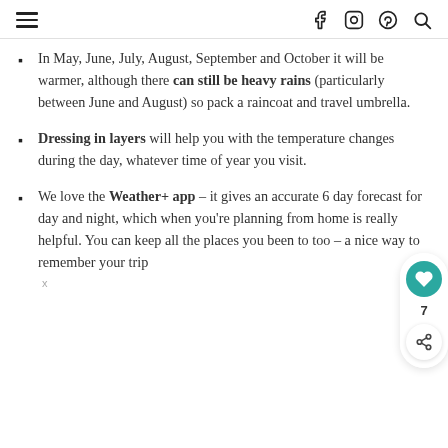≡  f  🔍
In May, June, July, August, September and October it will be warmer, although there can still be heavy rains (particularly between June and August) so pack a raincoat and travel umbrella.
Dressing in layers will help you with the temperature changes during the day, whatever time of year you visit.
We love the Weather+ app – it gives an accurate 6 day forecast for day and night, which when you're planning from home is really helpful. You can keep all the places you been to too – a nice way to remember your trip